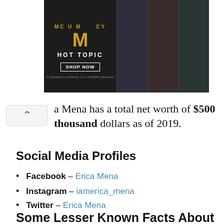[Figure (photo): Hot Topic advertisement banner with dark background showing Mummy movie logo, HOT TOPIC text, SHOP NOW button, and photos of merchandise/people on the right side. Close button (triangular play icon and X) visible at top right.]
a Mena has a total net worth of $500 thousand dollars as of 2019.
Social Media Profiles
Facebook – Erica Mena
Instagram – iamerica_mena
Twitter – Erica Mena
Some Lesser Known Facts About Erica Mena